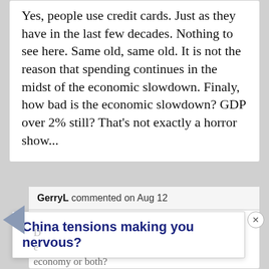Yes, people use credit cards. Just as they have in the last few decades. Nothing to see here. Same old, same old. It is not the reason that spending continues in the midst of the economic slowdown. Finaly, how bad is the economic slowdown? GDP over 2% still? That's not exactly a horror show...
GerryL commented on Aug 12
Barry,
China tensions making you nervous?
economy or both?